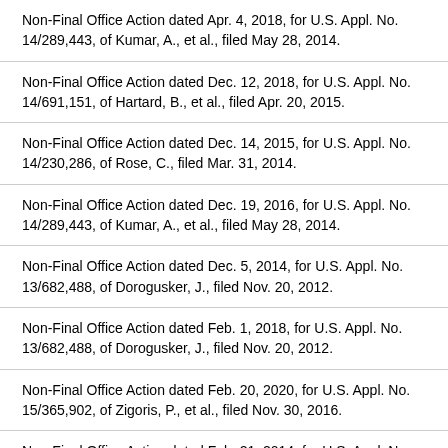Non-Final Office Action dated Apr. 4, 2018, for U.S. Appl. No. 14/289,443, of Kumar, A., et al., filed May 28, 2014.
Non-Final Office Action dated Dec. 12, 2018, for U.S. Appl. No. 14/691,151, of Hartard, B., et al., filed Apr. 20, 2015.
Non-Final Office Action dated Dec. 14, 2015, for U.S. Appl. No. 14/230,286, of Rose, C., filed Mar. 31, 2014.
Non-Final Office Action dated Dec. 19, 2016, for U.S. Appl. No. 14/289,443, of Kumar, A., et al., filed May 28, 2014.
Non-Final Office Action dated Dec. 5, 2014, for U.S. Appl. No. 13/682,488, of Dorogusker, J., filed Nov. 20, 2012.
Non-Final Office Action dated Feb. 1, 2018, for U.S. Appl. No. 13/682,488, of Dorogusker, J., filed Nov. 20, 2012.
Non-Final Office Action dated Feb. 20, 2020, for U.S. Appl. No. 15/365,902, of Zigoris, P., et al., filed Nov. 30, 2016.
Non-Final Office Action dated Feb. 21, 2014, for U.S. Appl. No. 13/682,488, of Dorogusker, J., filed Nov. 20, 2012.
Non-Final Office Action dated Jan. 2, 2020, for U.S. Appl. No. 14/691,151, of Hartard, B., et al., filed Apr. 20, 2015.